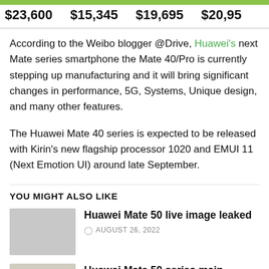| Price1 | Price2 | Price3 | Price4 |
| --- | --- | --- | --- |
| $23,600 | $15,345 | $19,695 | $20,95 |
According to the Weibo blogger @Drive, Huawei's next Mate series smartphone the Mate 40/Pro is currently stepping up manufacturing and it will bring significant changes in performance, 5G, Systems, Unique design, and many other features.
The Huawei Mate 40 series is expected to be released with Kirin's new flagship processor 1020 and EMUI 11 (Next Emotion UI) around late September.
YOU MIGHT ALSO LIKE
Huawei Mate 50 live image leaked
AUGUST 26, 2022
Huawei Mate 50 series main camera to